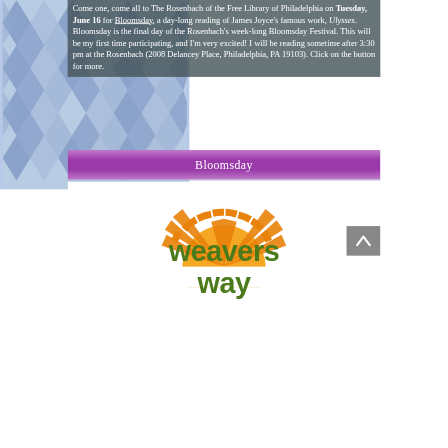Come one, come all to The Rosenbach of the Free Library of Philadelphia on Tuesday, June 16 for Bloomsday, a day-long reading of James Joyce's famous work, Ulysses. Bloomsday is the final day of the Rosenbach's week-long Bloomsday Festival. This will be my first time participating, and I'm very excited! I will be reading sometime after 3:30 pm at the Rosenbach (2008 Delancey Place, Philadelphia, PA 19103). Click on the button for more.
[Figure (other): Purple/violet button labeled 'Bloomsday']
[Figure (logo): Weavers Way logo: orange sunrise/arch graphic above the text 'weavers way' in dark olive/green bold rounded font]